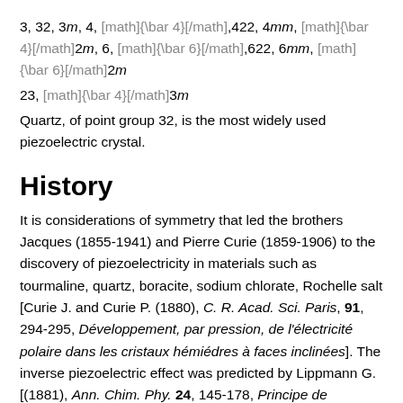3, 32, 3m, 4, [math]{\bar 4}[/math],422, 4mm, [math]{\bar 4}[/math]2m, 6, [math]{\bar 6}[/math],622, 6mm, [math]{\bar 6}[/math]2m
23, [math]{\bar 4}[/math]3m
Quartz, of point group 32, is the most widely used piezoelectric crystal.
History
It is considerations of symmetry that led the brothers Jacques (1855-1941) and Pierre Curie (1859-1906) to the discovery of piezoelectricity in materials such as tourmaline, quartz, boracite, sodium chlorate, Rochelle salt [Curie J. and Curie P. (1880), C. R. Acad. Sci. Paris, 91, 294-295, Développement, par pression, de l'électricité polaire dans les cristaux hémiédres à faces inclinées]. The inverse piezoelectric effect was predicted by Lippmann G. [(1881), Ann. Chim. Phy. 24, 145-178, Principe de